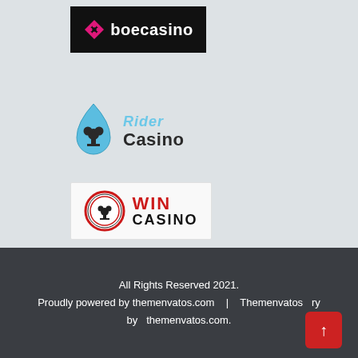[Figure (logo): Boecasino logo: black background with pink diamond/spade icon and white text 'boecasino']
[Figure (logo): Rider Casino logo: blue water-drop spade with club symbol, 'Rider' in light blue italic and 'Casino' in dark bold]
[Figure (logo): WIN CASINO logo: white background with red circular badge icon, 'WIN' in red and 'CASINO' in black bold]
All Rights Reserved 2021.
Proudly powered by themenvatos.com  |  Themenvatos by  themenvatos.com.